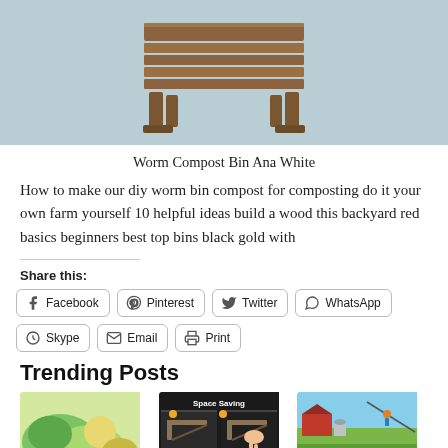[Figure (illustration): A wooden worm compost bin / box structure rendered in a 3D illustration style against a light blue-grey background. The wooden structure appears as a slatted box with legs.]
Worm Compost Bin Ana White
How to make our diy worm bin compost for composting do it your own farm yourself 10 helpful ideas build a wood this backyard red basics beginners best top bins black gold with
Share this:
Facebook
Pinterest
Twitter
WhatsApp
Skype
Email
Print
Trending Posts
[Figure (photo): Trending post image 1: green and yellow food/ingredient close-up]
[Figure (photo): Trending post image 2: Space Saving shelf bracket product collage on dark background]
[Figure (photo): Trending post image 3: Farm/zipline outdoor scene]